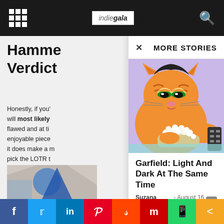indiegala
Hamme... Verdict
Honestly, if you'... will most likely ... flawed and at ti... enjoyable piece... it does make a m... pick the LOTR t...
MORE STORIES
[Figure (illustration): Garfield the cartoon cat eating popcorn while holding a TV remote control, with a bored/lazy expression, purple/lavender background]
Garfield: Light And Dark At The Same Time
Suzana lazarevska - August 16, 2020
[Figure (illustration): Partial image visible at bottom left corner]
f  t  in  p  s  m  WhatsApp  share